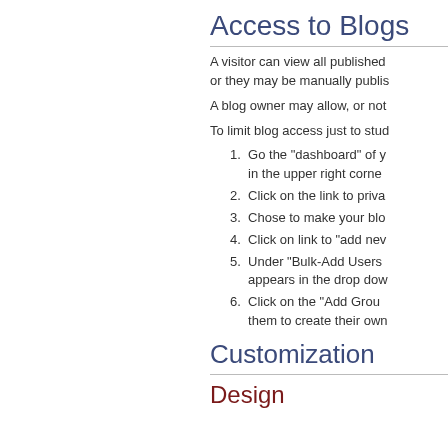Access to Blogs
A visitor can view all published or they may be manually publis
A blog owner may allow, or not
To limit blog access just to stud
1. Go the "dashboard" of y in the upper right corne
2. Click on the link to priva
3. Chose to make your blo
4. Click on link to "add nev
5. Under "Bulk-Add Users appears in the drop dow
6. Click on the "Add Grou them to create their own
Customization
Design